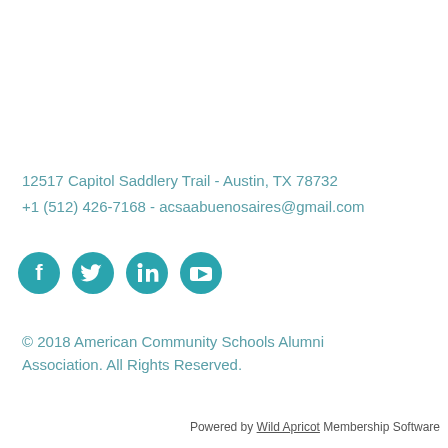12517 Capitol Saddlery Trail - Austin, TX 78732
+1 (512) 426-7168 - acsaabuenosaires@gmail.com
[Figure (other): Four circular social media icons in teal: Facebook, Twitter, LinkedIn, YouTube]
© 2018 American Community Schools Alumni Association. All Rights Reserved.
Powered by Wild Apricot Membership Software